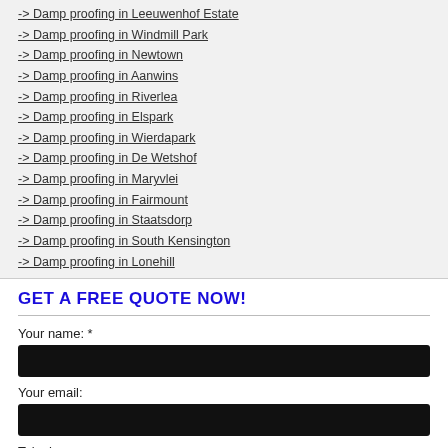-> Damp proofing in Leeuwenhof Estate
-> Damp proofing in Windmill Park
-> Damp proofing in Newtown
-> Damp proofing in Aanwins
-> Damp proofing in Riverlea
-> Damp proofing in Elspark
-> Damp proofing in Wierdapark
-> Damp proofing in De Wetshof
-> Damp proofing in Maryvlei
-> Damp proofing in Fairmount
-> Damp proofing in Staatsdorp
-> Damp proofing in South Kensington
-> Damp proofing in Lonehill
GET A FREE QUOTE NOW!
Your name: *
Your email:
Telephone: